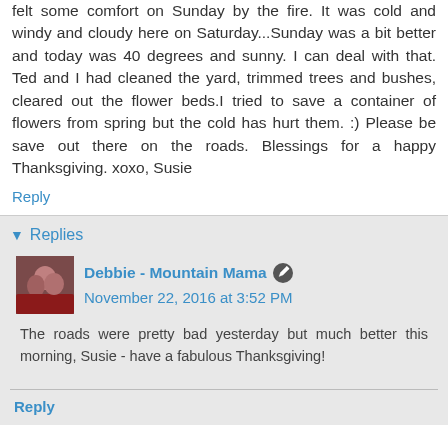felt some comfort on Sunday by the fire. It was cold and windy and cloudy here on Saturday...Sunday was a bit better and today was 40 degrees and sunny. I can deal with that. Ted and I had cleaned the yard, trimmed trees and bushes, cleared out the flower beds.I tried to save a container of flowers from spring but the cold has hurt them. :) Please be save out there on the roads. Blessings for a happy Thanksgiving. xoxo, Susie
Reply
Replies
Debbie - Mountain Mama  November 22, 2016 at 3:52 PM
The roads were pretty bad yesterday but much better this morning, Susie - have a fabulous Thanksgiving!
Reply